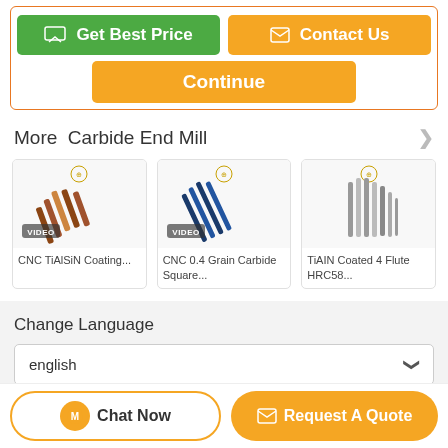[Figure (screenshot): Top action buttons: Get Best Price (green), Contact Us (orange), and Continue (orange)]
More  Carbide End Mill
[Figure (photo): CNC TiAlSiN Coating end mill product image with VIDEO badge]
CNC TiAlSiN Coating...
[Figure (photo): CNC 0.4 Grain Carbide Square end mill product image with VIDEO badge]
CNC 0.4 Grain Carbide Square...
[Figure (photo): TiAIN Coated 4 Flute HRC58 end mill product image]
TiAIN Coated 4 Flute HRC58...
Change Language
english
Home · About Us · Contact Us
[Figure (screenshot): Bottom bar with Chat Now and Request A Quote buttons]